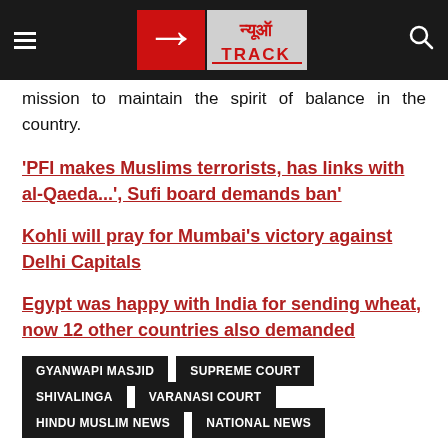[Figure (logo): News Track logo with red and grey branding, hamburger menu on left, search icon on right, dark header bar]
mission to maintain the spirit of balance in the country.
'PFI makes Muslims terrorists, has links with al-Qaeda...', Sufi board demands ban'
Kohli will pray for Mumbai's victory against Delhi Capitals
Egypt was happy with India for sending wheat, now 12 other countries also demanded
GYANWAPI MASJID
SUPREME COURT
SHIVALINGA
VARANASI COURT
HINDU MUSLIM NEWS
NATIONAL NEWS